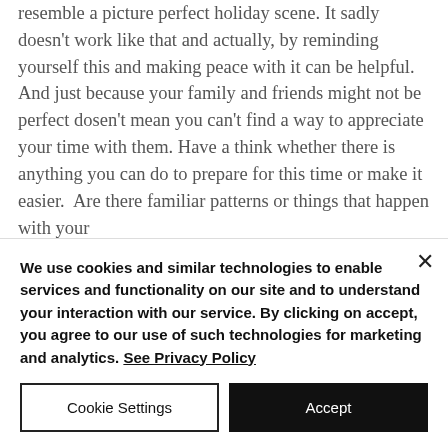resemble a picture perfect holiday scene. It sadly doesn't work like that and actually, by reminding yourself this and making peace with it can be helpful. And just because your family and friends might not be perfect dosen't mean you can't find a way to appreciate your time with them. Have a think whether there is anything you can do to prepare for this time or make it easier.  Are there familiar patterns or things that happen with your
We use cookies and similar technologies to enable services and functionality on our site and to understand your interaction with our service. By clicking on accept, you agree to our use of such technologies for marketing and analytics. See Privacy Policy
Cookie Settings
Accept